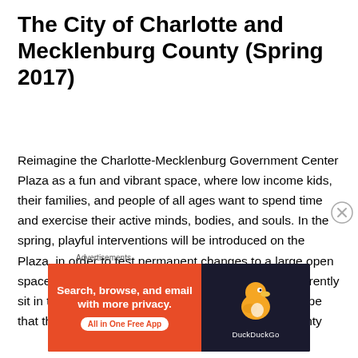The City of Charlotte and Mecklenburg County (Spring 2017)
Reimagine the Charlotte-Mecklenburg Government Center Plaza as a fun and vibrant space, where low income kids, their families, and people of all ages want to spend time and exercise their active minds, bodies, and souls. In the spring, playful interventions will be introduced on the Plaza, in order to test permanent changes to a large open space where unused, uninviting, vacant fountains currently sit in the corridor of government buildings. It is the hope that through this temporary project, the City and County
Advertisements
[Figure (other): DuckDuckGo advertisement banner: orange left side reading 'Search, browse, and email with more privacy. All in One Free App' and dark right side with DuckDuckGo duck logo and brand name.]